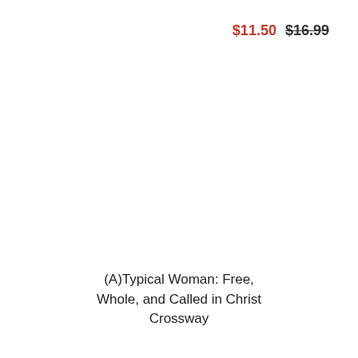$11.50 $16.99
(A)Typical Woman: Free, Whole, and Called in Christ
Crossway